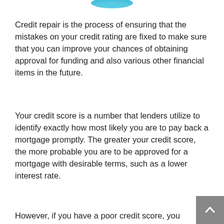[Figure (logo): Partial logo (blue curved shape) visible at top center of page]
Credit repair is the process of ensuring that the mistakes on your credit rating are fixed to make sure that you can improve your chances of obtaining approval for funding and also various other financial items in the future.
Your credit score is a number that lenders utilize to identify exactly how most likely you are to pay back a mortgage promptly. The greater your credit score, the more probable you are to be approved for a mortgage with desirable terms, such as a lower interest rate.
However, if you have a poor credit score, you